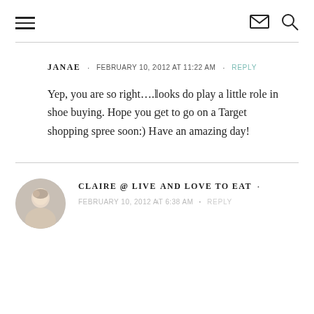Navigation header with hamburger menu, mail icon, and search icon
JANAE · FEBRUARY 10, 2012 AT 11:22 AM · REPLY
Yep, you are so right….looks do play a little role in shoe buying. Hope you get to go on a Target shopping spree soon:) Have an amazing day!
CLAIRE @ LIVE AND LOVE TO EAT · FEBRUARY 10, 2012 AT 6:38 AM · REPLY